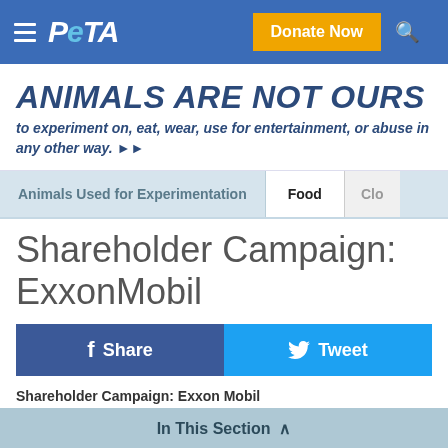PETA | Donate Now
ANIMALS ARE NOT OURS
to experiment on, eat, wear, use for entertainment, or abuse in any other way.
Animals Used for Experimentation | Food | Clo
Shareholder Campaign: ExxonMobil
Share | Tweet
Shareholder Campaign: Exxon Mobil
In This Section